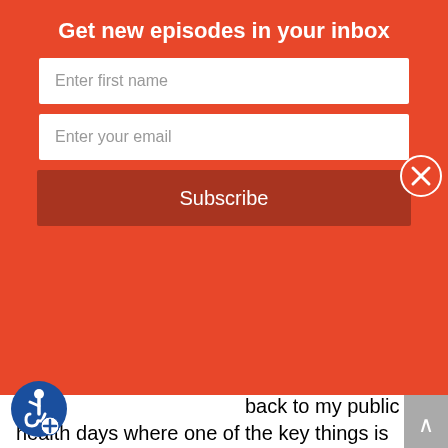Get new episodes in your inbox
Enter first name
Enter your email
Subscribe
back to my public health days where one of the key things is getting people not to have to see you clinically as a post op or whatever, but helping people to avoid surgery and do things the proper way. Ergonomics for example, is a good, good use of our skills and what we've learned as I sit up in my chair properly. And we doing things that people just don't think about. And when we break away from just being the PT, treating person and branch out to media with other professions, talking to them about what are their challenges, what can we do to help though, or thinking about things we can do to help them communicating better in collegially at different